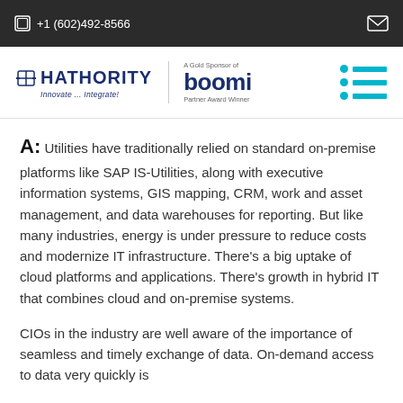+1 (602)492-8566
[Figure (logo): Hathority logo with tagline 'Innovate... Integrate!' and Boomi Gold Sponsor Partner Award Winner badge, plus hamburger menu icon]
A: Utilities have traditionally relied on standard on-premise platforms like SAP IS-Utilities, along with executive information systems, GIS mapping, CRM, work and asset management, and data warehouses for reporting. But like many industries, energy is under pressure to reduce costs and modernize IT infrastructure. There's a big uptake of cloud platforms and applications. There's growth in hybrid IT that combines cloud and on-premise systems.
CIOs in the industry are well aware of the importance of seamless and timely exchange of data. On-demand access to data very quickly is